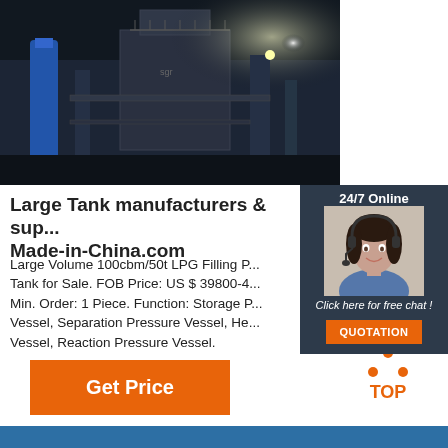[Figure (photo): Industrial facility/large tank equipment photographed from below at night with lights]
[Figure (infographic): 24/7 Online chat widget with photo of customer service agent wearing headset, 'Click here for free chat!' text, and orange QUOTATION button]
Large Tank manufacturers & suppliers - Made-in-China.com
Large Volume 100cbm/50t LPG Filling Pressure Tank for Sale. FOB Price: US $ 39800-4... Min. Order: 1 Piece. Function: Storage Pressure Vessel, Separation Pressure Vessel, He... Vessel, Reaction Pressure Vessel.
[Figure (illustration): Orange Get Price button]
[Figure (logo): TOP logo with orange dots arranged in triangle above text TOP in orange]
[Figure (photo): Blue footer bar at bottom]